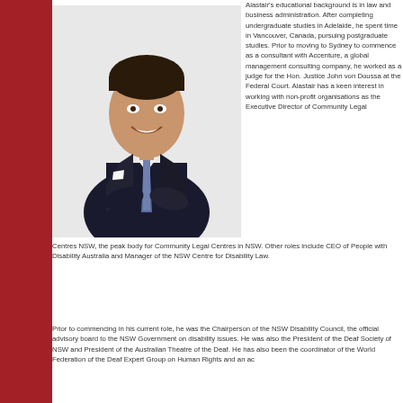[Figure (photo): Professional headshot of a man in a dark suit and striped tie, smiling, against a light background]
Alastair's educational background is in law and business administration. After completing undergraduate studies in Adelaide, he spent time in Vancouver, Canada, pursuing postgraduate studies. Prior to moving to Sydney to commence as a consultant with Accenture, a global management consulting company, he worked as a judge for the Hon. Justice John von Doussa at the Federal Court. Alastair has a keen interest in working with non-profit organisations as the Executive Director of Community Legal Centres NSW, the peak body for Community Legal Centres in NSW. Other roles include CEO of People with Disability Australia and Manager of the NSW Centre for Disability Law.
Prior to commencing in his current role, he was the Chairperson of the NSW Disability Council, the official advisory board to the NSW Government on disability issues. He was also the President of the Deaf Society of NSW and President of the Australian Theatre of the Deaf. He has also been the coordinator of the World Federation of the Deaf Expert Group on Human Rights and an ac...